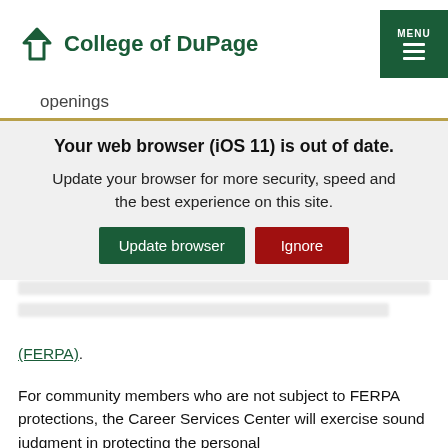College of DuPage
openings
They release candidate information exclusively
Your web browser (iOS 11) is out of date. Update your browser for more security, speed and the best experience on this site.
(FERPA).
For community members who are not subject to FERPA protections, the Career Services Center will exercise sound judgment in protecting the personal